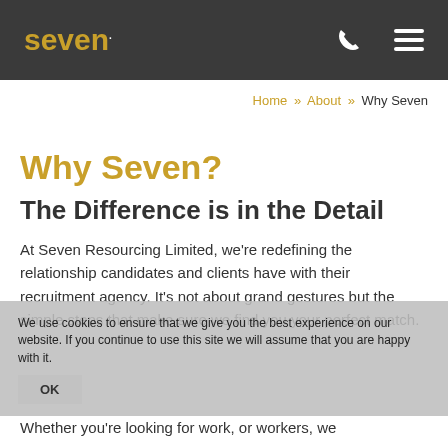seven
Home » About » Why Seven
Why Seven?
The Difference is in the Detail
At Seven Resourcing Limited, we're redefining the relationship candidates and clients have with their recruitment agency. It's not about grand gestures but the simple steps that make sure we find you your perfect match.
We use cookies to ensure that we give you the best experience on our website. If you continue to use this site we will assume that you are happy with it.
Whether you're looking for work, or workers, we